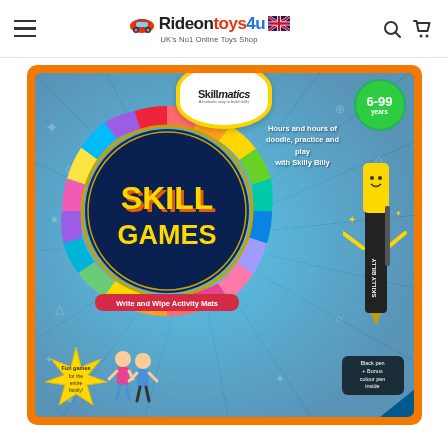Rideontoys4u — UK's No1 Online Toys Shop
[Figure (photo): Skillmatics Skill Games Write and Wipe Activity Mats product box. Orange outer border, blue background with ray burst, colorful spinning wheel ring with multi-colored tiles, center circle with 'SKILL GAMES' in yellow bold text, Skillmatics logo at top, age badge 6-99 years, pen character 'Skilly Billy' on right side, children illustration bottom left, 'Fun games for the entire family' badge, 'Write and Wipe Activity Mats' subtitle banner.]